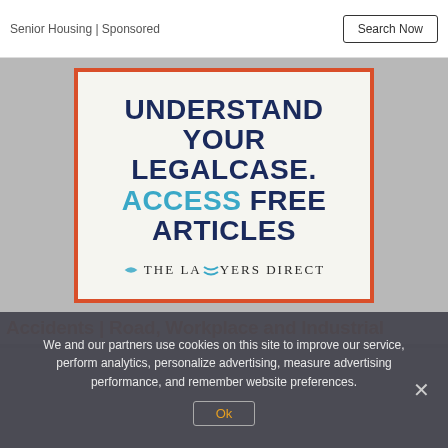Senior Housing | Sponsored
[Figure (advertisement): Legal services advertisement with orange border. Large bold dark navy text reads: UNDERSTAND YOUR LEGALCASE. ACCESS FREE ARTICLES. ACCESS is in blue. Bottom of ad shows The Lawyers Direct logo.]
Accidents | Road, Workplace and Industrial
We and our partners use cookies on this site to improve our service, perform analytics, personalize advertising, measure advertising performance, and remember website preferences.
Ok